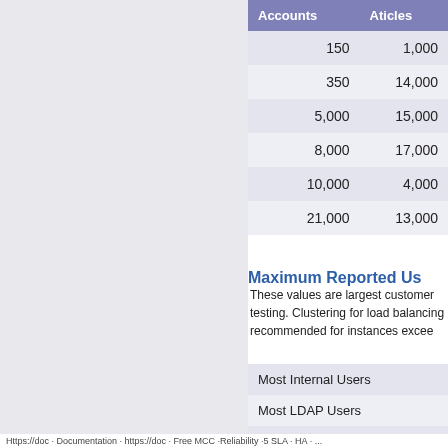| Accounts | Articles | C... |
| --- | --- | --- |
| 150 | 1,000 |
| 350 | 14,000 |
| 5,000 | 15,000 |
| 8,000 | 17,000 |
| 10,000 | 4,000 |
| 21,000 | 13,000 |
Maximum Reported Us...
These values are largest customer testing. Clustering for load balancing recommended for instances excee...
| Most Internal Users |
| Most LDAP Users |
| Most Pages |